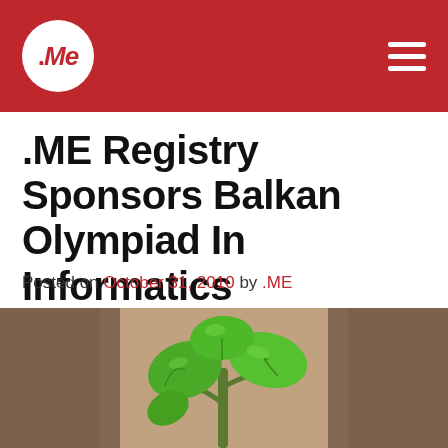.ME (logo) — navigation header with hamburger menu
.ME Registry Sponsors Balkan Olympiad In Informatics
Posted on October 31, 2010 by .ME
[Figure (photo): Hands holding a small green plant seedling with heart-shaped leaves, bokeh background]